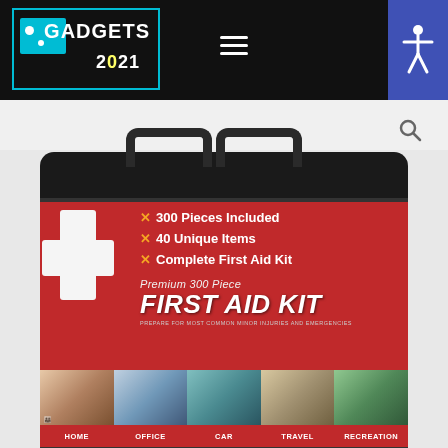GADGETS 2021 — navigation header with logo, hamburger menu, and accessibility button
[Figure (photo): Premium 300 Piece First Aid Kit in black bag with red label band showing white cross logo, bullet points listing 300 Pieces Included, 40 Unique Items, Complete First Aid Kit, and product name. Bottom strip shows use-case photos labeled HOME, OFFICE, CAR, TRAVEL, RECREATION.]